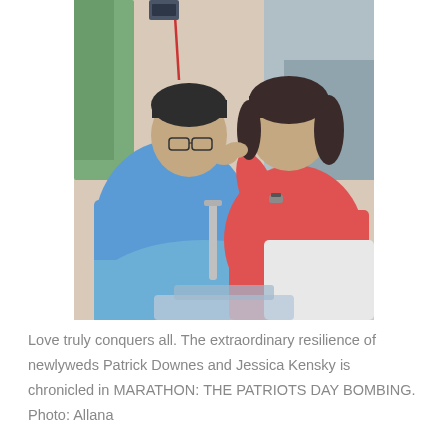[Figure (photo): A man in a blue hospital gown sitting in a hospital bed leans his forehead toward a woman in a red top who is leaning toward him. They appear to be an intimate couple sharing a tender moment in a hospital room.]
Love truly conquers all. The extraordinary resilience of newlyweds Patrick Downes and Jessica Kensky is chronicled in MARATHON: THE PATRIOTS DAY BOMBING. Photo: Allana